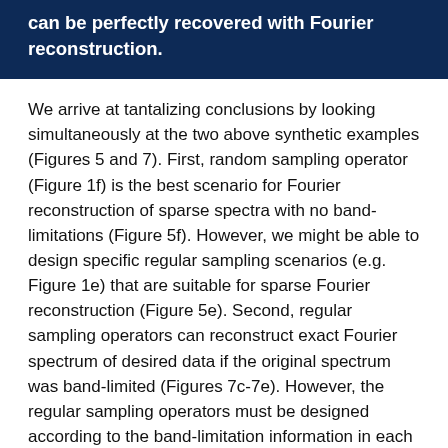can be perfectly recovered with Fourier reconstruction.
We arrive at tantalizing conclusions by looking simultaneously at the two above synthetic examples (Figures 5 and 7). First, random sampling operator (Figure 1f) is the best scenario for Fourier reconstruction of sparse spectra with no band-limitations (Figure 5f). However, we might be able to design specific regular sampling scenarios (e.g. Figure 1e) that are suitable for sparse Fourier reconstruction (Figure 5e). Second, regular sampling operators can reconstruct exact Fourier spectrum of desired data if the original spectrum was band-limited (Figures 7c-7e). However, the regular sampling operators must be designed according to the band-limitation information in each spatial direction. Hence, we might be able to find regular sampling scenarios on which both sparse and band-limited spectra can be reconstructed using